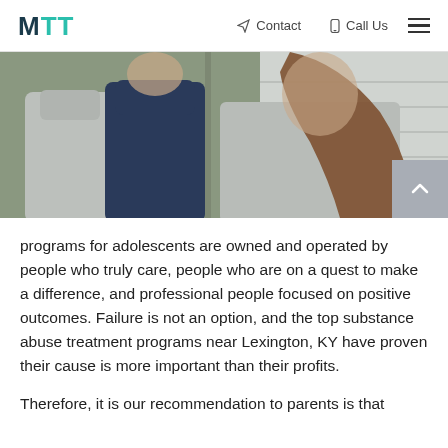MTT | Contact | Call Us
[Figure (photo): Two teenagers standing outdoors, one in a gray hoodie and one in a navy hoodie on the left, and a girl with long brown hair in a gray hoodie leaning against a white wall on the right.]
programs for adolescents are owned and operated by people who truly care, people who are on a quest to make a difference, and professional people focused on positive outcomes. Failure is not an option, and the top substance abuse treatment programs near Lexington, KY have proven their cause is more important than their profits.
Therefore, it is our recommendation to parents is that